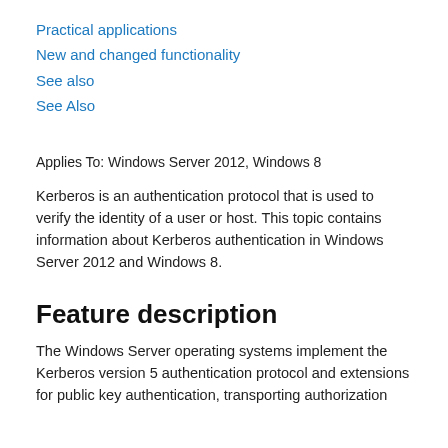Practical applications
New and changed functionality
See also
See Also
Applies To: Windows Server 2012, Windows 8
Kerberos is an authentication protocol that is used to verify the identity of a user or host. This topic contains information about Kerberos authentication in Windows Server 2012 and Windows 8.
Feature description
The Windows Server operating systems implement the Kerberos version 5 authentication protocol and extensions for public key authentication, transporting authorization